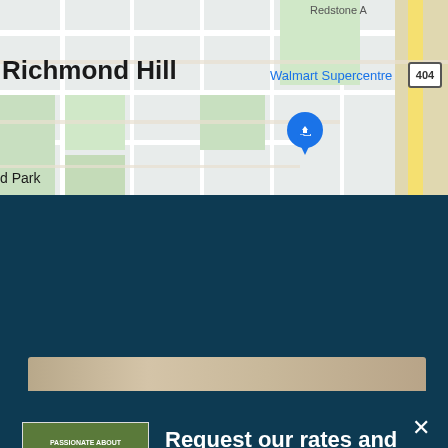[Figure (map): Google Maps screenshot showing Richmond Hill area with Walmart Supercentre marker, highway 404, and surrounding streets]
Request our rates and availability
We'll be happy to provide a quote on our services based on your unique needs.
Request a personalized quote